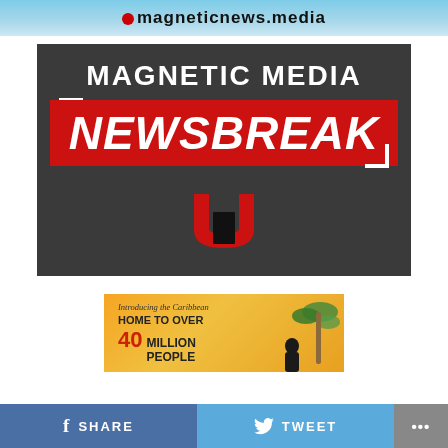magneticnewsmedia
[Figure (logo): Magnetic Media Newsbreak logo: dark grey background with white bold text 'MAGNETIC MEDIA' above a red banner with white italic bold text 'NEWSBREAK', white corner brackets, and a red magnet arch icon below.]
[Figure (infographic): Advertisement banner with orange/yellow gradient background. Text: 'Introducing the Caribbean HOME TO OVER 40 MILLION PEOPLE' with palm tree and person silhouette on right.]
SHARE   TWEET   ...